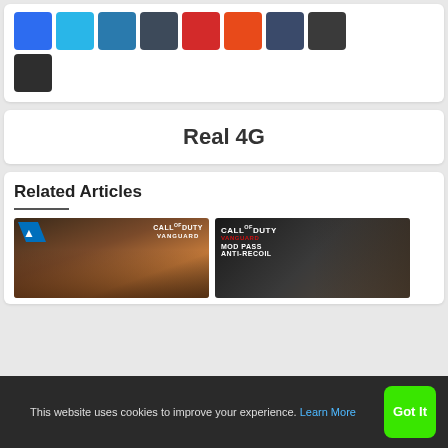[Figure (illustration): Color swatches grid: blue, light blue, dark blue, dark gray, red, orange, dark navy, dark gray/charcoal, and one dark charcoal swatch on second row]
Real 4G
Related Articles
[Figure (photo): Call of Duty: Vanguard game cover with soldiers and PlayStation logo]
[Figure (photo): Call of Duty Vanguard Mod Pass Anti-Recoil promotional image]
This website uses cookies to improve your experience. Learn More